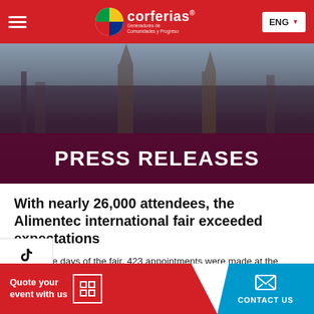Corferias - Generadores de Comunidades y Progreso | ENG
[Figure (photo): Hero image of a city skyline at dusk with a dark maroon overlay band at the bottom showing PRESS RELEASES title]
PRESS RELEASES
With nearly 26,000 attendees, the Alimentec international fair exceeded expectations
During the days of the fair, 423 appointments were made at the business roundtables that were supported by Procolombia. See more
... Bogotá: success ... first ... Colombia